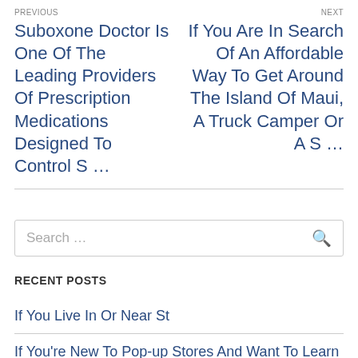PREVIOUS
Suboxone Doctor Is One Of The Leading Providers Of Prescription Medications Designed To Control S …
NEXT
If You Are In Search Of An Affordable Way To Get Around The Island Of Maui, A Truck Camper Or A S …
Search …
RECENT POSTS
If You Live In Or Near St
If You're New To Pop-up Stores And Want To Learn More